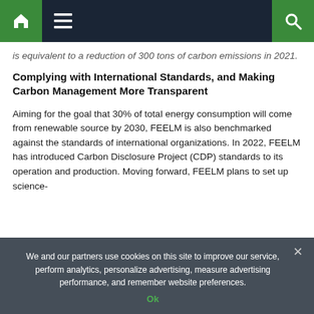Navigation bar with home, menu, and search icons
is equivalent to a reduction of 300 tons of carbon emissions in 2021.
Complying with International Standards, and Making Carbon Management More Transparent
Aiming for the goal that 30% of total energy consumption will come from renewable source by 2030, FEELM is also benchmarked against the standards of international organizations. In 2022, FEELM has introduced Carbon Disclosure Project (CDP) standards to its operation and production. Moving forward, FEELM plans to set up science-
We and our partners use cookies on this site to improve our service, perform analytics, personalize advertising, measure advertising performance, and remember website preferences.
Ok